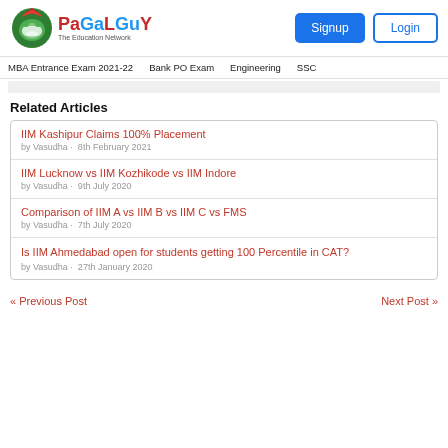PaGaLGuY The Education Network | Signup | Login
MBA Entrance Exam 2021-22  Bank PO Exam  Engineering  SSC
Related Articles
IIM Kashipur Claims 100% Placement
by Vasudha · 8th February 2021
IIM Lucknow vs IIM Kozhikode vs IIM Indore
by Vasudha · 9th July 2020
Comparison of IIM A vs IIM B vs IIM C vs FMS
by Vasudha · 7th July 2020
Is IIM Ahmedabad open for students getting 100 Percentile in CAT?
by Vasudha · 27th January 2020
« Previous Post    Next Post »